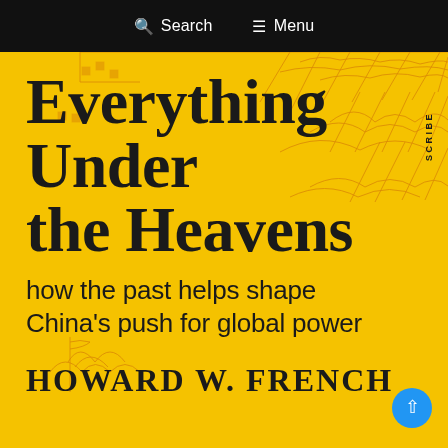Search   Menu
[Figure (illustration): Book cover of 'Everything Under the Heavens: how the past helps shape China's push for global power' by Howard W. French. Yellow background with a faint Chinese-style map illustration in red-orange lines showing mountains, coastlines, and geographic features. The publisher name 'SCRIBE' appears vertically on the right side.]
Everything Under the Heavens
how the past helps shape China's push for global power
HOWARD W. FRENCH